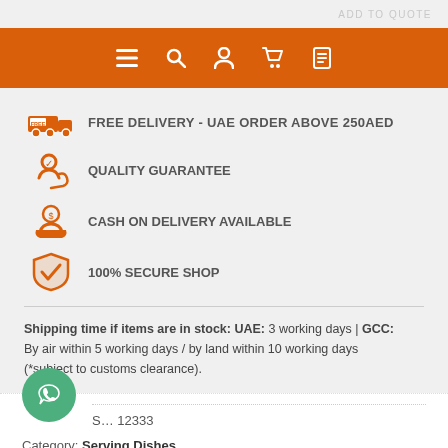ADD TO QUOTE
[Figure (screenshot): Orange navigation bar with hamburger menu, search, user, cart, and list icons in white]
FREE DELIVERY - UAE ORDER ABOVE 250AED
QUALITY GUARANTEE
CASH ON DELIVERY AVAILABLE
100% SECURE SHOP
Shipping time if items are in stock: UAE: 3 working days | GCC: By air within 5 working days / by land within 10 working days (*subject to customs clearance).
SKU: ...12333
Category: Serving Dishes